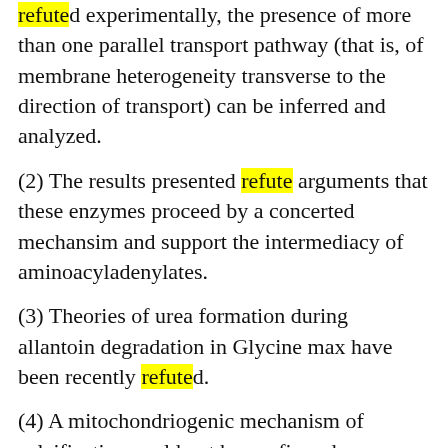refuted experimentally, the presence of more than one parallel transport pathway (that is, of membrane heterogeneity transverse to the direction of transport) can be inferred and analyzed.
(2) The results presented refute arguments that these enzymes proceed by a concerted mechansim and support the intermediacy of aminoacyladenylates.
(3) Theories of urea formation during allantoin degradation in Glycine max have been recently refuted.
(4) A mitochondriogenic mechanism of calcification could not be confirmed nor refuted by this study.
(5) The probability that the initial situation is correct--the proband and the cohabitant's six children are all legitimate-is "practically refuted": W = 0.03%